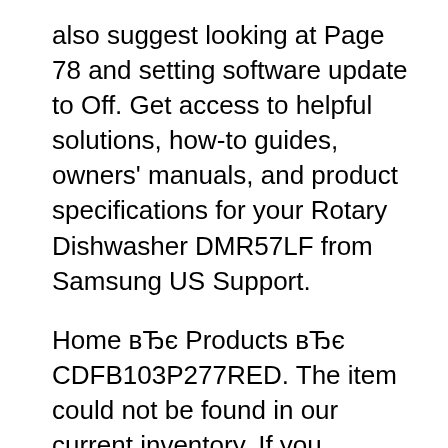also suggest looking at Page 78 and setting software update to Off. Get access to helpful solutions, how-to guides, owners' manuals, and product specifications for your Rotary Dishwasher DMR57LF from Samsung US Support.
Home вЂє Products вЂє CDFB103P277RED. The item could not be found in our current inventory. If you followed a link to this page then this part was most likely deleted because it is no longer stocked by any locations. Search for other possible related items. Help Us Improve. I would Explore the Panasonic DMR-EH59 - DVD Recorder